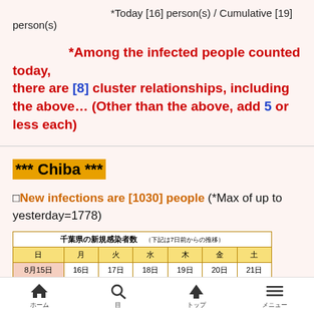*Today [16] person(s) / Cumulative [19] person(s)
*Among the infected people counted today, there are [8] cluster relationships, including the above… (Other than the above, add 5 or less each)
*** Chiba ***
□New infections are [1030] people (*Max of up to yesterday=1778)
[Figure (table-as-image): Table titled 千葉県の新規感染者数 (下記は7日前からの推移) showing days of the week from 8月15日 (日) to 21日 (土)]
Navigation bar with home, search, up, and menu icons